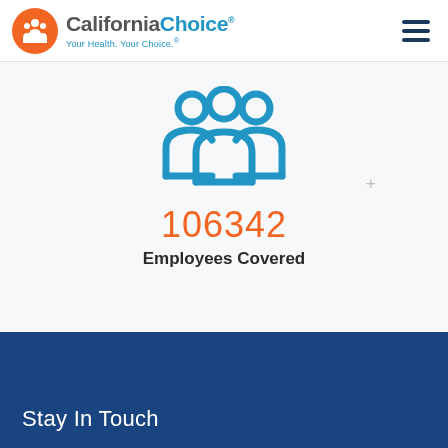[Figure (logo): CaliforniaChoice logo with orange circle icon showing family silhouettes, company name in bold, and tagline 'Your Health. Your Choice.']
[Figure (infographic): Blue icon of three people (group/employees) above the number 106342 in orange and label 'Employees Covered' in dark text]
Stay In Touch